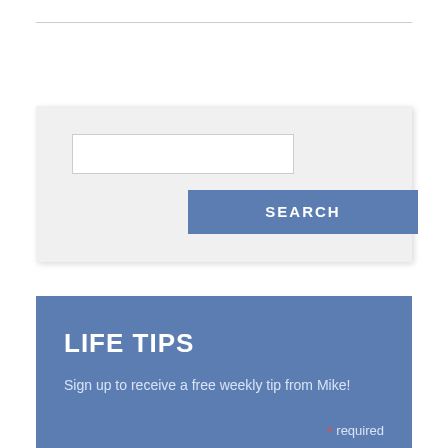[Figure (screenshot): Search widget with a white text input box and a blue SEARCH button on a light grey background]
LIFE TIPS
Sign up to receive a free weekly tip from Mike!
* required